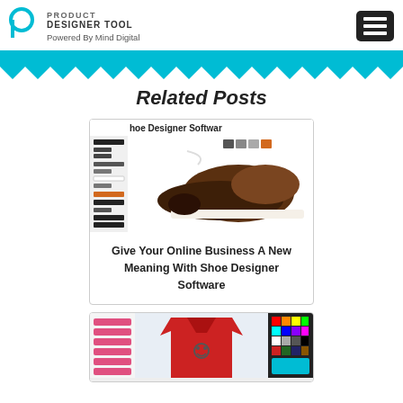PRODUCT DESIGNER TOOL — Powered By Mind Digital
Related Posts
[Figure (screenshot): Screenshot of shoe designer software showing a brown leather shoe with color swatches and sidebar controls]
Give Your Online Business A New Meaning With Shoe Designer Software
[Figure (screenshot): Screenshot of t-shirt designer software showing a red t-shirt with design controls]